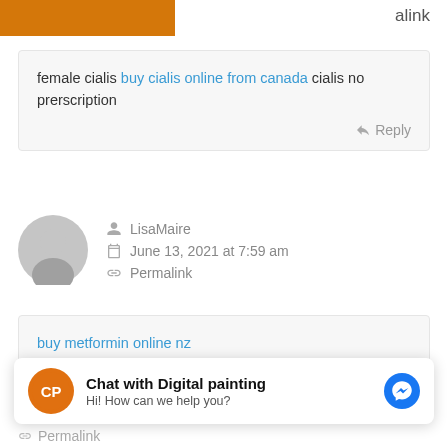alink
female cialis buy cialis online from canada cialis no prerscription
Reply
LisaMaire
June 13, 2021 at 7:59 am
Permalink
buy metformin online nz
Reply
Chat with Digital painting
Hi! How can we help you?
Permalink